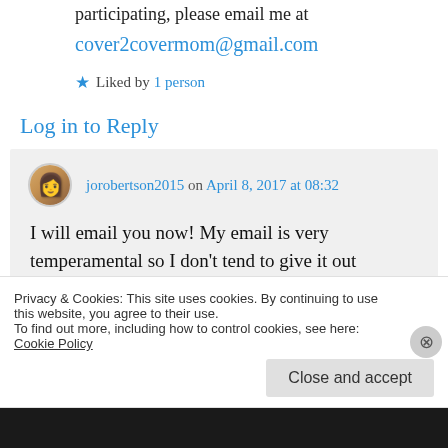…something fun. If you are interesting in participating, please email me at
cover2covermom@gmail.com
★ Liked by 1 person
Log in to Reply
jorobertson2015 on April 8, 2017 at 08:32
I will email you now! My email is very temperamental so I don't tend to give it out
Privacy & Cookies: This site uses cookies. By continuing to use this website, you agree to their use.
To find out more, including how to control cookies, see here: Cookie Policy
Close and accept